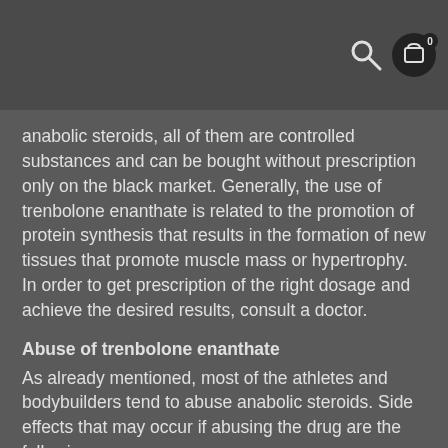[search icon] [cart icon with 0]
anabolic steroids, all of them are controlled substances and can be bought without prescription only on the black market. Generally, the use of trenbolone enanthate is related to the promotion of protein synthesis that results in the formation of new tissues that promote muscle mass or hypertrophy. In order to get prescription of the right dosage and achieve the desired results, consult a doctor.
Abuse of trenbolone enanthate
As already mentioned, most of the athletes and bodybuilders tend to abuse anabolic steroids. Side effects that may occur if abusing the drug are the following:
Acne and oily skin;
Liver and kidney failure;
Water retention;
Gynecomastia;